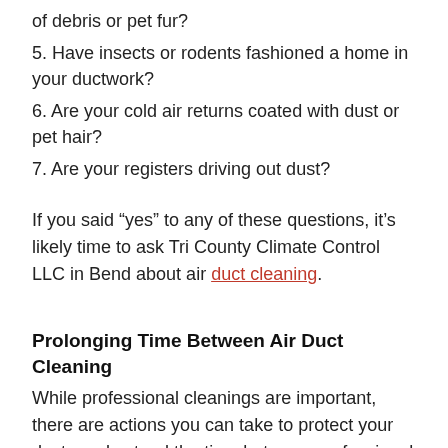of debris or pet fur?
5. Have insects or rodents fashioned a home in your ductwork?
6. Are your cold air returns coated with dust or pet hair?
7. Are your registers driving out dust?
If you said “yes” to any of these questions, it’s likely time to ask Tri County Climate Control LLC in Bend about air duct cleaning.
Prolonging Time Between Air Duct Cleaning
While professional cleanings are important, there are actions you can take to protect your ducts and extend the time between professional appointments.
Most importantly, schedule regular HVAC maintenance with the professionals at Tri County Climate Control LLC. A yearly evaluation of your furnace in the fall and air conditioning unit in